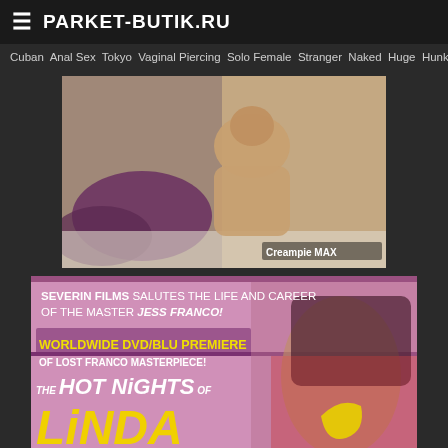PARKET-BUTIK.RU
Cuban  Anal Sex  Tokyo  Vaginal Piercing  Solo Female  Stranger  Naked  Huge  Hunk
[Figure (photo): Thumbnail video image of adult content, with watermark 'Creampie MAX']
[Figure (photo): Movie promotional banner for Severin Films: 'SEVERIN FILMS SALUTES THE LIFE AND CAREER OF THE MASTER JESS FRANCO! WORLDWIDE DVD/BLU PREMIERE OF LOST FRANCO MASTERPIECE! THE HOT NIGHTS OF LINDA']